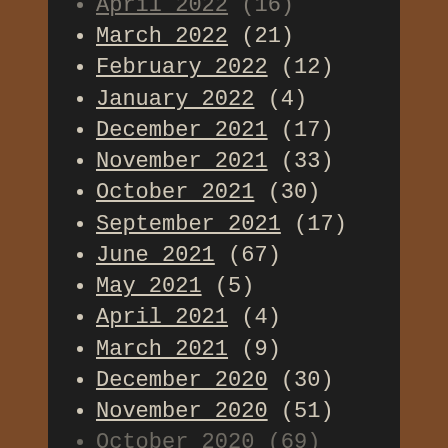April 2022 (16)
March 2022 (21)
February 2022 (12)
January 2022 (4)
December 2021 (17)
November 2021 (33)
October 2021 (30)
September 2021 (17)
June 2021 (67)
May 2021 (5)
April 2021 (4)
March 2021 (9)
December 2020 (30)
November 2020 (51)
October 2020 (69)